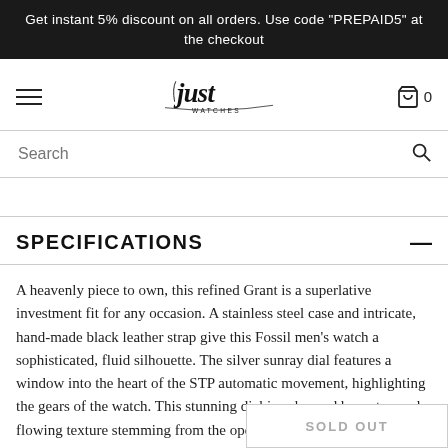Get instant 5% discount on all orders. Use code "PREPAID5" at the checkout
[Figure (logo): Just Watches cursive script logo with decorative underline]
Search
SPECIFICATIONS
A heavenly piece to own, this refined Grant is a superlative investment fit for any occasion. A stainless steel case and intricate, hand-made black leather strap give this Fossil men's watch a sophisticated, fluid silhouette. The silver sunray dial features a window into the heart of the STP automatic movement, highlighting the gears of the watch. This stunning dial is enhanced by a stamped, flowing texture stemming from the open
SOLD OUT